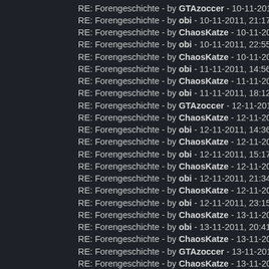RE: Forengeschichte - by GTAzoccer - 10-11-2011, 20:55
RE: Forengeschichte - by obi - 10-11-2011, 21:17
RE: Forengeschichte - by ChaosKatze - 10-11-2011, 22:18
RE: Forengeschichte - by obi - 10-11-2011, 22:55
RE: Forengeschichte - by ChaosKatze - 10-11-2011, 23:00
RE: Forengeschichte - by obi - 11-11-2011, 14:56
RE: Forengeschichte - by ChaosKatze - 11-11-2011, 15:45
RE: Forengeschichte - by obi - 11-11-2011, 18:12
RE: Forengeschichte - by GTAzoccer - 12-11-2011, 01:31
RE: Forengeschichte - by ChaosKatze - 12-11-2011, 04:39
RE: Forengeschichte - by obi - 12-11-2011, 14:36
RE: Forengeschichte - by ChaosKatze - 12-11-2011, 14:56
RE: Forengeschichte - by obi - 12-11-2011, 15:17
RE: Forengeschichte - by ChaosKatze - 12-11-2011, 15:37
RE: Forengeschichte - by obi - 12-11-2011, 21:34
RE: Forengeschichte - by ChaosKatze - 12-11-2011, 22:07
RE: Forengeschichte - by obi - 12-11-2011, 23:15
RE: Forengeschichte - by ChaosKatze - 13-11-2011, 00:46
RE: Forengeschichte - by obi - 13-11-2011, 20:41
RE: Forengeschichte - by ChaosKatze - 13-11-2011, 21:31
RE: Forengeschichte - by GTAzoccer - 13-11-2011, 21:37
RE: Forengeschichte - by ChaosKatze - 13-11-2011, 21:40
RE: Forengeschichte - by obi - 14-11-2011, 17:52
RE: Forengeschichte - by ChaosKatze - 14-11-2011, 19:31
RE: Forengeschichte - by obi - 14-11-2011, 20:23